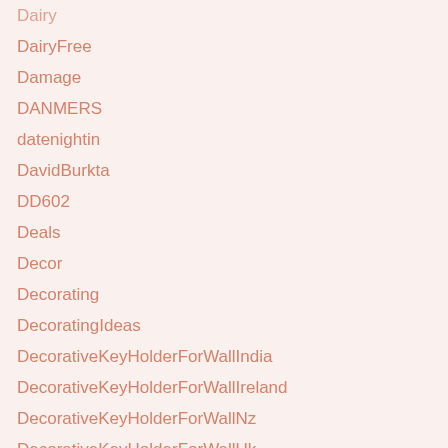Dairy
DairyFree
Damage
DANMERS
datenightin
DavidBurkta
DD602
Deals
Decor
Decorating
DecoratingIdeas
DecorativeKeyHolderForWallIndia
DecorativeKeyHolderForWallIreland
DecorativeKeyHolderForWallNz
DecorativeKeyHolderForWallUk